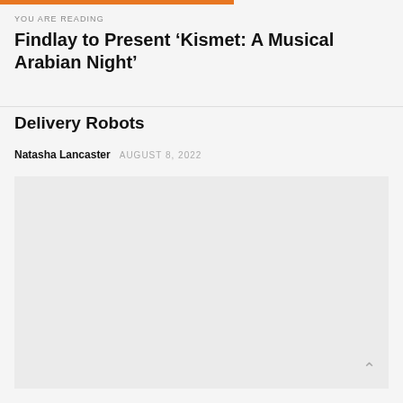YOU ARE READING
Findlay to Present ‘Kismet: A Musical Arabian Night’
Delivery Robots
Natasha Lancaster   AUGUST 8, 2022
[Figure (photo): Large placeholder image area, light gray background]